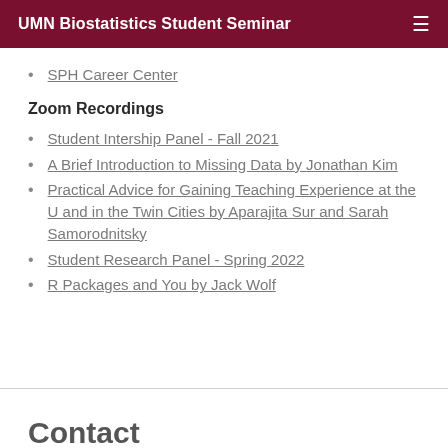UMN Biostatistics Student Seminar
SPH Career Center
Zoom Recordings
Student Intership Panel - Fall 2021
A Brief Introduction to Missing Data by Jonathan Kim
Practical Advice for Gaining Teaching Experience at the U and in the Twin Cities by Aparajita Sur and Sarah Samorodnitsky
Student Research Panel - Spring 2022
R Packages and You by Jack Wolf
Contact